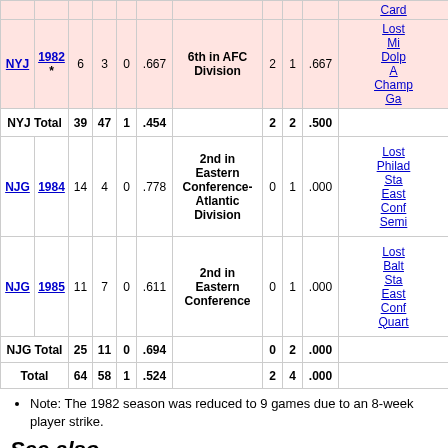| Team | Year | W | L | T | Pct | Division | PW | PL | PPct | Result |
| --- | --- | --- | --- | --- | --- | --- | --- | --- | --- | --- |
| NYJ | 1982* | 6 | 3 | 0 | .667 | 6th in AFC Division | 2 | 1 | .667 | Lost Mi Dolp A Champ Ga |
| NYJ Total |  | 39 | 47 | 1 | .454 |  | 2 | 2 | .500 |  |
| NJG | 1984 | 14 | 4 | 0 | .778 | 2nd in Eastern Conference-Atlantic Division | 0 | 1 | .000 | Lost Philad Sta East Conf Semi |
| NJG | 1985 | 11 | 7 | 0 | .611 | 2nd in Eastern Conference | 0 | 1 | .000 | Lost Balt Sta East Conf Quart |
| NJG Total |  | 25 | 11 | 0 | .694 |  | 0 | 2 | .000 |  |
| Total |  | 64 | 58 | 1 | .524 |  | 2 | 4 | .000 |  |
Note: The 1982 season was reduced to 9 games due to an 8-week player strike.
See also